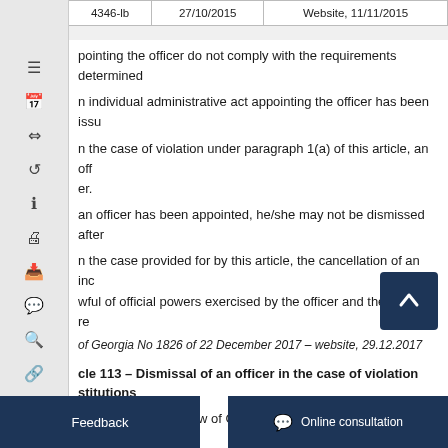| 4346-lb | 27/10/2015 | Website, 11/11/2015 |
| --- | --- | --- |
...pointing the officer do not comply with the requirements determined...
...n individual administrative act appointing the officer has been issu...
...n the case of violation under paragraph 1(a) of this article, an off...er.
...an officer has been appointed, he/she may not be dismissed after...
...n the case provided for by this article, the cancellation of an ind...wful of official powers exercised by the officer and the return of re...
...of Georgia No 1826 of 22 December 2017 – website, 29.12.2017...
Article 113 – Dismissal of an officer in the case of violation of anti-corruption institutions
...he violation of the Law of Georgia on Conflicts of Interest and Corr...
...vided for by paragraph 1...uth...mined by the legislation of Georgia.